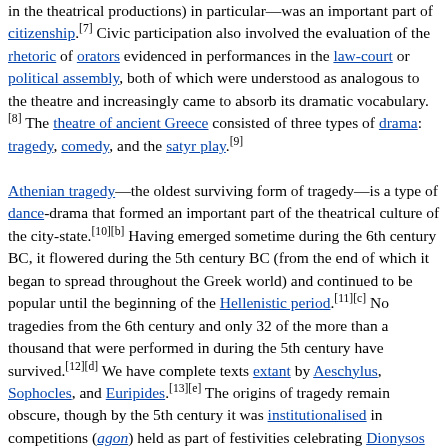in the theatrical productions) in particular—was an important part of citizenship.[7] Civic participation also involved the evaluation of the rhetoric of orators evidenced in performances in the law-court or political assembly, both of which were understood as analogous to the theatre and increasingly came to absorb its dramatic vocabulary.[8] The theatre of ancient Greece consisted of three types of drama: tragedy, comedy, and the satyr play.[9]

Athenian tragedy—the oldest surviving form of tragedy—is a type of dance-drama that formed an important part of the theatrical culture of the city-state.[10][b] Having emerged sometime during the 6th century BC, it flowered during the 5th century BC (from the end of which it began to spread throughout the Greek world) and continued to be popular until the beginning of the Hellenistic period.[11][c] No tragedies from the 6th century and only 32 of the more than a thousand that were performed in during the 5th century have survived.[12][d] We have complete texts extant by Aeschylus, Sophocles, and Euripides.[13][e] The origins of tragedy remain obscure, though by the 5th century it was institutionalised in competitions (agon) held as part of festivities celebrating Dionysos (the god of wine and fertility).[14] As contestants in the City Dionysia's competition (the most prestigious of the festivals to stage drama), playwrights were required to present a tetralogy of plays (though the individual works were not necessarily connected